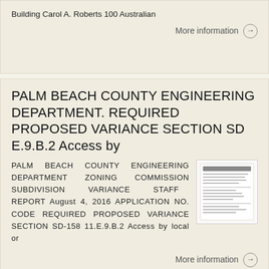Building Carol A. Roberts 100 Australian
More information →
PALM BEACH COUNTY ENGINEERING DEPARTMENT. REQUIRED PROPOSED VARIANCE SECTION SD E.9.B.2 Access by
PALM BEACH COUNTY ENGINEERING DEPARTMENT ZONING COMMISSION SUBDIVISION VARIANCE STAFF REPORT August 4, 2016 APPLICATION NO. CODE REQUIRED PROPOSED VARIANCE SECTION SD-158 11.E.9.B.2 Access by local or
More information →
Overlay District: CCRT Area: Municipalities within 1 Mile Future Annexation Area Existing units or square footage